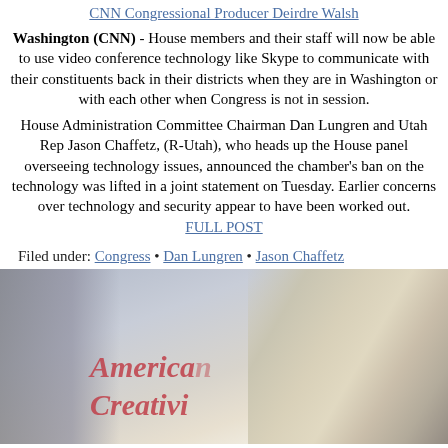CNN Congressional Producer Deirdre Walsh
Washington (CNN) - House members and their staff will now be able to use video conference technology like Skype to communicate with their constituents back in their districts when they are in Washington or with each other when Congress is not in session.
House Administration Committee Chairman Dan Lungren and Utah Rep Jason Chaffetz, (R-Utah), who heads up the House panel overseeing technology issues, announced the chamber's ban on the technology was lifted in a joint statement on Tuesday. Earlier concerns over technology and security appear to have been worked out.
FULL POST
Filed under: Congress • Dan Lungren • Jason Chaffetz
[Figure (photo): Photo showing a person at a podium with 'American Creativi...' signage visible in the background, and a silhouette figure on the left.]